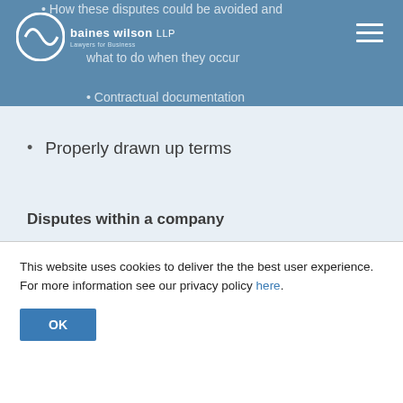baines wilson LLP — Lawyers for Business
How these disputes could be avoided and what to do when they occur
Contractual documentation
Properly drawn up terms
Disputes within a company
Examples from recent high profile cases
How to avoid shareholder/director disputes and what to do when they occur
Intellectual Property Disputes
This website uses cookies to deliver the the best user experience. For more information see our privacy policy here.